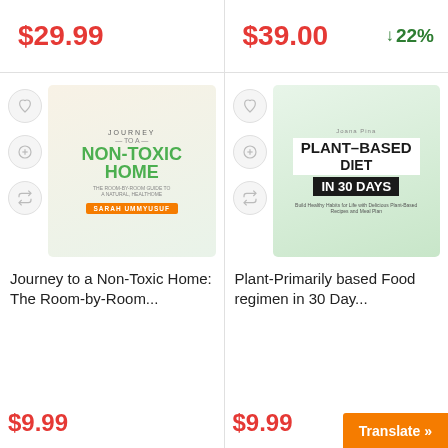$29.99
$39.00
↓ 22%
[Figure (illustration): Book cover: Journey to a Non-Toxic Home by Sarah Ummyusuf]
Journey to a Non-Toxic Home: The Room-by-Room...
$9.99
[Figure (illustration): Book cover: Plant-Based Diet in 30 Days]
Plant-Primarily based Food regimen in 30 Day...
$9.99
Translate »